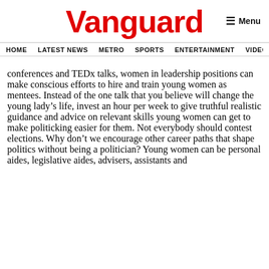Vanguard
HOME  LATEST NEWS  METRO  SPORTS  ENTERTAINMENT  VIDEOS
conferences and TEDx talks, women in leadership positions can make conscious efforts to hire and train young women as mentees. Instead of the one talk that you believe will change the young lady's life, invest an hour per week to give truthful realistic guidance and advice on relevant skills young women can get to make politicking easier for them. Not everybody should contest elections. Why don't we encourage other career paths that shape politics without being a politician? Young women can be personal aides, legislative aides, advisers, assistants and